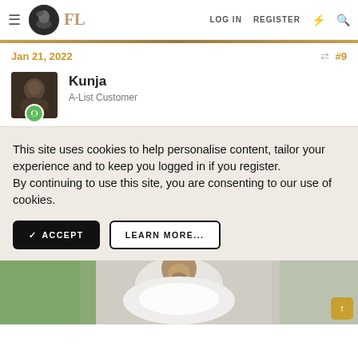FL — LOG IN   REGISTER
Jan 21, 2022   #9
Kunja
A-List Customer
This site uses cookies to help personalise content, tailor your experience and to keep you logged in if you register.
By continuing to use this site, you are consenting to our use of cookies.
✓ ACCEPT   LEARN MORE...
[Figure (photo): Partial photo of a person in white clothing, outdoors with greenery in background]